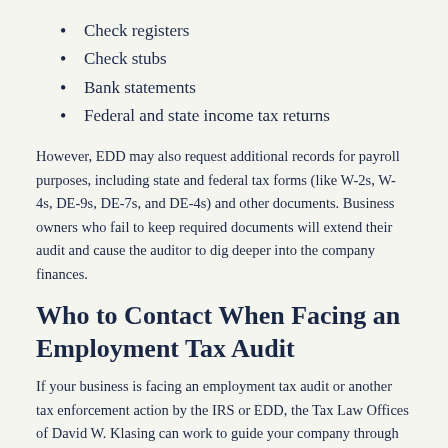Check registers
Check stubs
Bank statements
Federal and state income tax returns
However, EDD may also request additional records for payroll purposes, including state and federal tax forms (like W-2s, W-4s, DE-9s, DE-7s, and DE-4s) and other documents. Business owners who fail to keep required documents will extend their audit and cause the auditor to dig deeper into the company finances.
Who to Contact When Facing an Employment Tax Audit
If your business is facing an employment tax audit or another tax enforcement action by the IRS or EDD, the Tax Law Offices of David W. Klasing can work to guide your company through the audit process. We are experienced in working with both state and federal auditors and can successfully navigate the challenges presented by an audit. To schedule a reduced-rate consultation with one of our experienced tax professionals